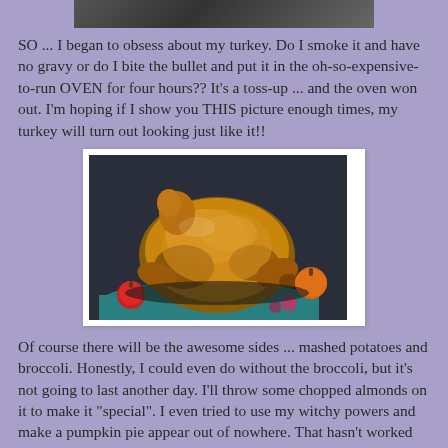[Figure (photo): Partial top view of a dark roasted image, cropped at top of page]
SO ... I began to obsess about my turkey.  Do I smoke it and have no gravy or do I bite the bullet and put it in the oh-so-expensive-to-run OVEN for four hours??  It's a toss-up ... and the oven won out.  I'm hoping if I show you THIS picture enough times, my turkey will turn out looking just like it!!
[Figure (photo): A beautifully roasted golden-brown turkey on a dark roasting pan, surrounded by apples, a small pumpkin, and a teal cloth, on a dark background]
Of course there will be the awesome sides ... mashed potatoes and broccoli.  Honestly, I could even do without the broccoli, but it's not going to last another day.  I'll throw some chopped almonds on it to make it "special".  I even tried to use my witchy powers and make a pumpkin pie appear out of nowhere.  That hasn't worked so well.